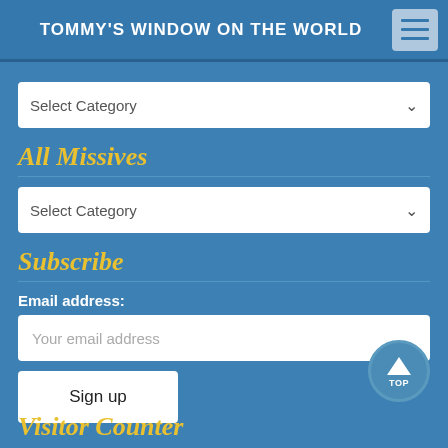TOMMY'S WINDOW ON THE WORLD
Select Category
All Missives
Select Category
Subscribe
Email address:
Your email address
Sign up
Visitor Counter